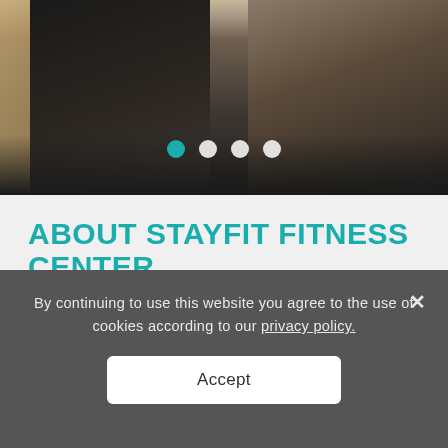[Figure (photo): Gym/fitness center photo showing people exercising with kettlebells, wearing black workout clothes. Wooden box visible on left. Dark floor.]
ABOUT STAYFIT FITNESS CENTER
Our three-story StayFit fitness center (1,000 sqm) is comprised of top-of-the-line Life Fitness
By continuing to use this website you agree to the use of cookies according to our privacy policy.
Accept